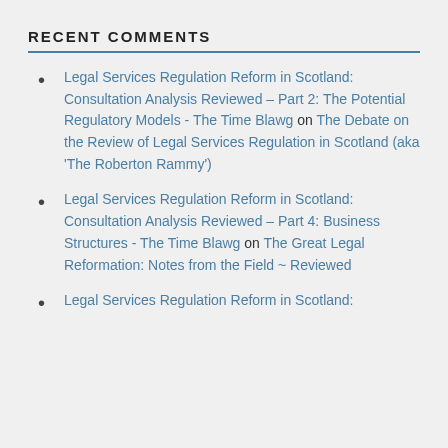RECENT COMMENTS
Legal Services Regulation Reform in Scotland: Consultation Analysis Reviewed – Part 2: The Potential Regulatory Models - The Time Blawg on The Debate on the Review of Legal Services Regulation in Scotland (aka 'The Roberton Rammy')
Legal Services Regulation Reform in Scotland: Consultation Analysis Reviewed – Part 4: Business Structures - The Time Blawg on The Great Legal Reformation: Notes from the Field ~ Reviewed
Legal Services Regulation Reform in Scotland: